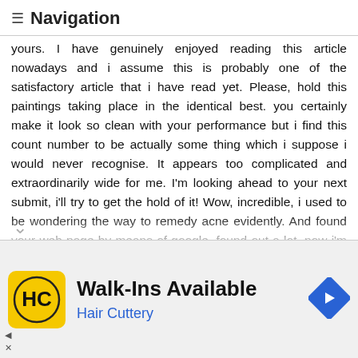≡ Navigation
yours. I have genuinely enjoyed reading this article nowadays and i assume this is probably one of the satisfactory article that i have read yet. Please, hold this paintings taking place in the identical best. you certainly make it look so clean with your performance but i find this count number to be actually some thing which i suppose i would never recognise. It appears too complicated and extraordinarily wide for me. I'm looking ahead to your next submit, i'll try to get the hold of it! Wow, incredible, i used to be wondering the way to remedy acne evidently. And found your web page by means of google, found out a lot, now i'm a piece clean. I've bookmark your website online and additionally add rss. Preserve us updated. This post is quite simple to examine and respect without leaving any information out. Extraordinary paintings! Thanks for this text, i advise you if you need excursion enterprise this is pleasant rv for tourrite in dubai. This is an amazing put up i seen
[Figure (other): Advertisement banner for Hair Cuttery showing logo, Walk-Ins Available text, Hair Cuttery brand name, and navigation arrow icon]